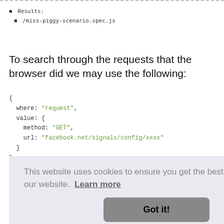❙ Results:
  ❙ /miss-piggy-scenario.spec.js
To search through the requests that the browser did we may use the following:
{
  where: "request",
  value: {
    method: "GET",
    url: "facebook.net/signals/config/xxxx"
  }
}
This website uses cookies to ensure you get the best experience on our website. Learn more
Got it!
oject
nas
minimalistic API and as such it is indeed just steps and